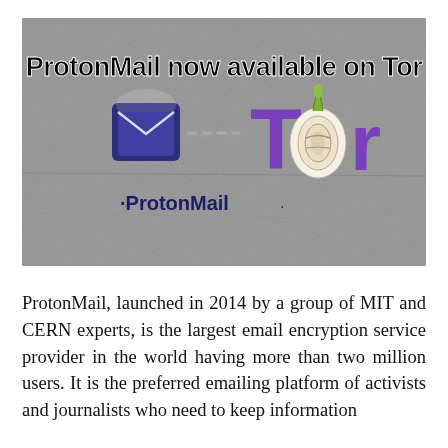[Figure (illustration): Banner image on a concrete-textured background showing 'ProtonMail now available on Tor' with the ProtonMail envelope logo and Tor onion logo linked by a chain, with 'ProtonMail' and 'Tor' brand labels.]
ProtonMail, launched in 2014 by a group of MIT and CERN experts, is the largest email encryption service provider in the world having more than two million users. It is the preferred emailing platform of activists and journalists who need to keep information